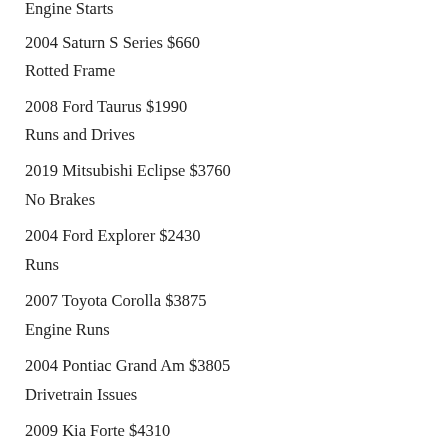Engine Starts
2004 Saturn S Series $660
Rotted Frame
2008 Ford Taurus $1990
Runs and Drives
2019 Mitsubishi Eclipse $3760
No Brakes
2004 Ford Explorer $2430
Runs
2007 Toyota Corolla $3875
Engine Runs
2004 Pontiac Grand Am $3805
Drivetrain Issues
2009 Kia Forte $4310